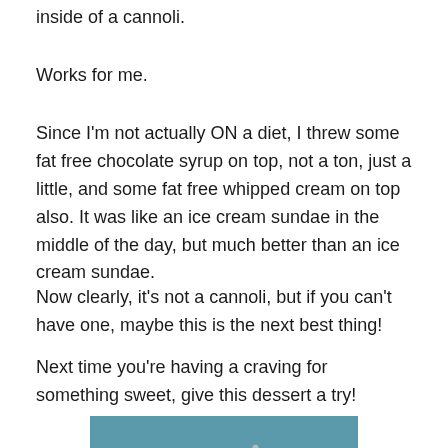inside of a cannoli.
Works for me.
Since I'm not actually ON a diet, I threw some fat free chocolate syrup on top, not a ton, just a little, and some fat free whipped cream on top also. It was like an ice cream sundae in the middle of the day, but much better than an ice cream sundae.
Now clearly, it's not a cannoli, but if you can't have one, maybe this is the next best thing!
Next time you're having a craving for something sweet, give this dessert a try!
[Figure (photo): A white plate with whipped cream and chocolate syrup drizzled on top, with a spoon, photographed from above against a teal/blue background.]